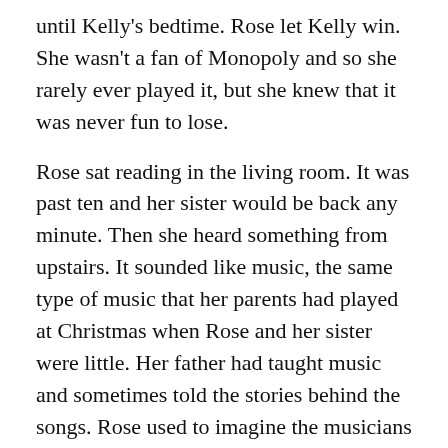until Kelly's bedtime. Rose let Kelly win. She wasn't a fan of Monopoly and so she rarely ever played it, but she knew that it was never fun to lose.
Rose sat reading in the living room. It was past ten and her sister would be back any minute. Then she heard something from upstairs. It sounded like music, the same type of music that her parents had played at Christmas when Rose and her sister were little. Her father had taught music and sometimes told the stories behind the songs. Rose used to imagine the musicians making songs blossom out of pieces of sound like the magic trick where a magician placed a seed in dirt and then it burst into a tree. So the stories of frustration and the time that it took to create music always disappointed her. She longed for music to be sudden in its creation.
Rose walked up the steps and then down the hall to